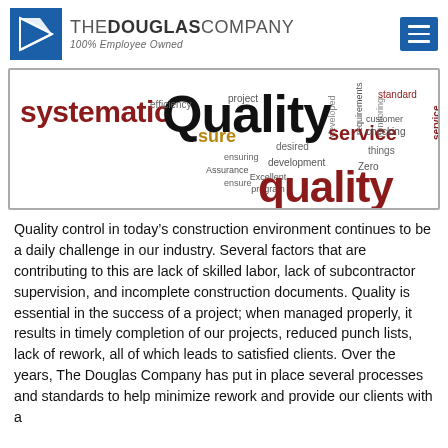THE DOUGLAS COMPANY 100% Employee Owned
[Figure (infographic): Word cloud with quality-related terms: systematic, Quality (large), quality (large), service, sure, efficiency, project, developed, requirements, ensuring, Assurance, ensure, desired, development, monitoring, things, Zero, Excellent program, customer, checking, service, standard]
Quality control in today’s construction environment continues to be a daily challenge in our industry. Several factors that are contributing to this are lack of skilled labor, lack of subcontractor supervision, and incomplete construction documents. Quality is essential in the success of a project; when managed properly, it results in timely completion of our projects, reduced punch lists, lack of rework, all of which leads to satisfied clients. Over the years, The Douglas Company has put in place several processes and standards to help minimize rework and provide our clients with a